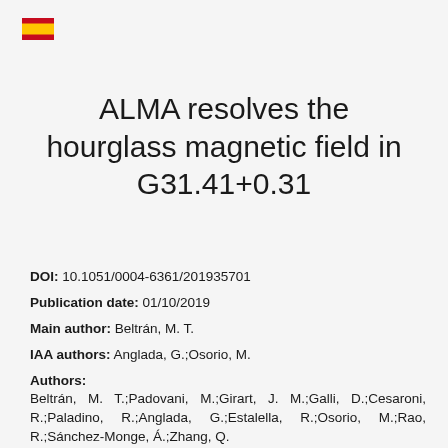[Figure (logo): Spanish flag icon in top left corner]
ALMA resolves the hourglass magnetic field in G31.41+0.31
DOI: 10.1051/0004-6361/201935701
Publication date: 01/10/2019
Main author: Beltrán, M. T.
IAA authors: Anglada, G.;Osorio, M.
Authors:
Beltrán, M. T.;Padovani, M.;Girart, J. M.;Galli, D.;Cesaroni, R.;Paladino, R.;Anglada, G.;Estalella, R.;Osorio, M.;Rao, R.;Sánchez-Monge, Á.;Zhang, Q.
Journal: Astronomy and Astrophysics
Refereed: Yes